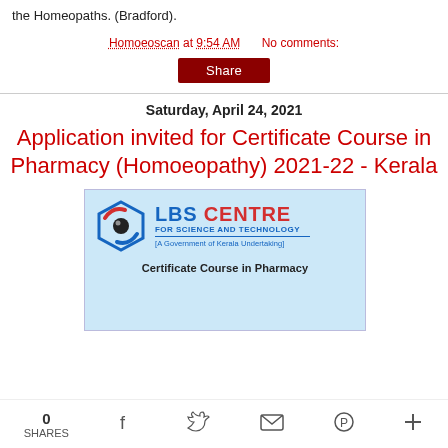the Homeopaths. (Bradford).
Homoeoscan at 9:54 AM    No comments:
Share
Saturday, April 24, 2021
Application invited for Certificate Course in Pharmacy (Homoeopathy) 2021-22 - Kerala
[Figure (logo): LBS Centre for Science and Technology logo with text 'Certificate Course in Pharmacy' below, on blue background. A Government of Kerala Undertaking.]
0 SHARES  [facebook] [twitter] [email] [pinterest] [plus]